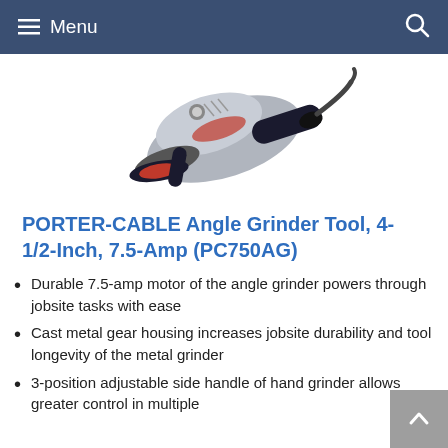≡ Menu
[Figure (photo): Porter-Cable angle grinder tool (PC750AG), grey and black with red accents, shown at an angle with side handle attached and power cord visible]
PORTER-CABLE Angle Grinder Tool, 4-1/2-Inch, 7.5-Amp (PC750AG)
Durable 7.5-amp motor of the angle grinder powers through jobsite tasks with ease
Cast metal gear housing increases jobsite durability and tool longevity of the metal grinder
3-position adjustable side handle of hand grinder allows greater control in multiple